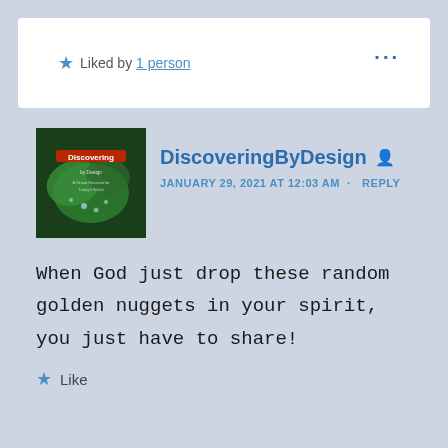Liked by 1 person
DiscoveringByDesign
JANUARY 29, 2021 AT 12:03 AM · REPLY
When God just drop these random golden nuggets in your spirit, you just have to share!
Like